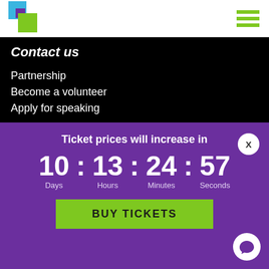[Figure (logo): Overlapping colored squares logo (cyan, purple, green) with hamburger menu icon]
Contact us
Partnership
Become a volunteer
Apply for speaking
HTW Initiatives
Ticket prices will increase in
10 : 13 : 24 : 57
Days   Hours   Minutes   Seconds
BUY TICKETS